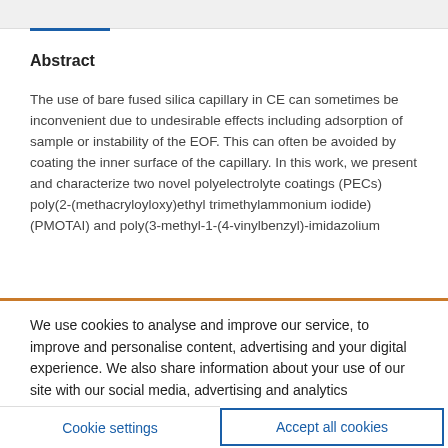Abstract
The use of bare fused silica capillary in CE can sometimes be inconvenient due to undesirable effects including adsorption of sample or instability of the EOF. This can often be avoided by coating the inner surface of the capillary. In this work, we present and characterize two novel polyelectrolyte coatings (PECs) poly(2-(methacryloyloxy)ethyl trimethylammonium iodide) (PMOTAI) and poly(3-methyl-1-(4-vinylbenzyl)-imidazolium
We use cookies to analyse and improve our service, to improve and personalise content, advertising and your digital experience. We also share information about your use of our site with our social media, advertising and analytics partners.  Cookie Policy
Cookie settings
Accept all cookies